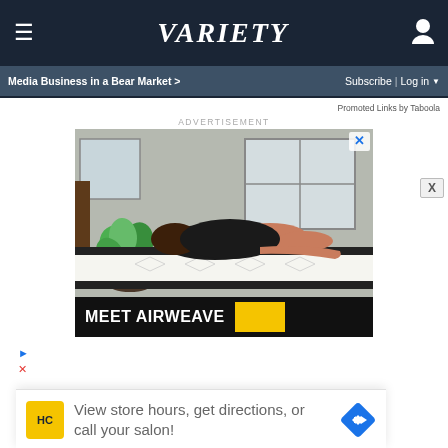VARIETY — Media Business in a Bear Market > | Subscribe | Log in
Promoted Links by Taboola
ADVERTISEMENT
[Figure (photo): Advertisement for Airweave mattress showing a woman lying face down on a white mattress with a dark border, with bedroom furniture and plants in the background. Text at bottom reads MEET AIRWEAVE with a yellow graphic.]
[Figure (infographic): Secondary overlay advertisement: HC logo in yellow square, text 'View store hours, get directions, or call your salon!', blue diamond navigation arrow icon.]